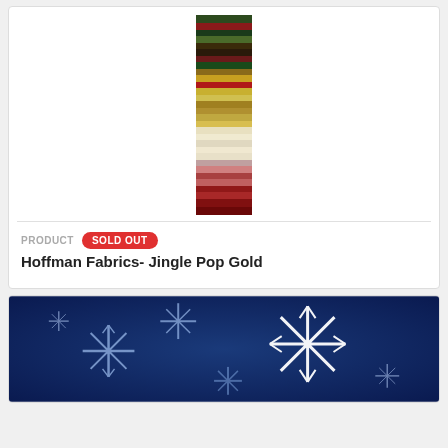[Figure (photo): Tall narrow strip of stacked Christmas-themed fabric swatches in red, green, gold, cream and holiday prints]
PRODUCT   SOLD OUT
Hoffman Fabrics- Jingle Pop Gold
[Figure (photo): Dark navy blue background with large white and blue snowflake patterns]